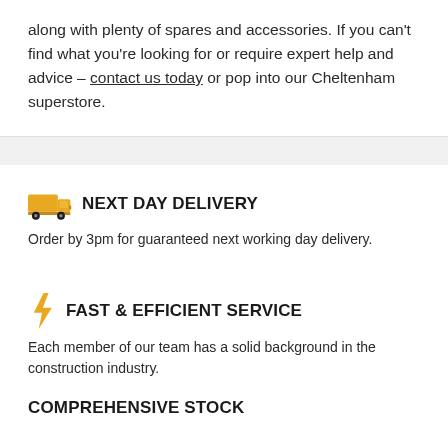along with plenty of spares and accessories. If you can't find what you're looking for or require expert help and advice – contact us today or pop into our Cheltenham superstore.
NEXT DAY DELIVERY
Order by 3pm for guaranteed next working day delivery.
FAST & EFFICIENT SERVICE
Each member of our team has a solid background in the construction industry.
COMPREHENSIVE STOCK